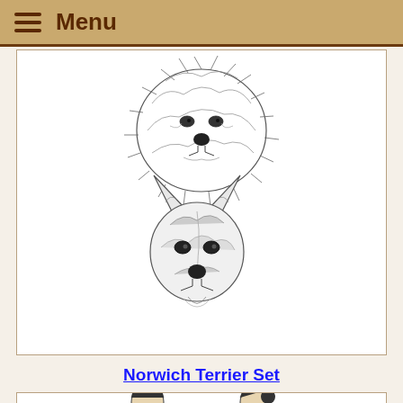Menu
[Figure (illustration): Pen-and-ink sketches of two Norwich Terrier dog head portraits stacked vertically — top one is a fluffy shaggy adult terrier face, bottom one is a younger terrier puppy face with pointed ears, both centered in a white card.]
Norwich Terrier Set
[Figure (illustration): Pen-and-ink sketch of two people pulling on a large bag or sack between them, partially visible at bottom of page.]